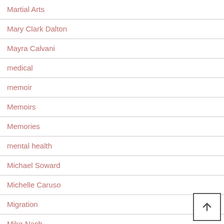Martial Arts
Mary Clark Dalton
Mayra Calvani
medical
memoir
Memoirs
Memories
mental health
Michael Soward
Michelle Caruso
Migration
Mike Nach
Military
money